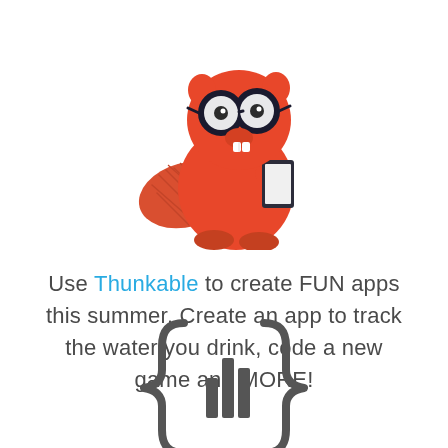[Figure (illustration): A red cartoon beaver wearing round dark-rimmed glasses and holding a smartphone/tablet, with a textured flat tail, sitting upright — the Thunkable mascot logo.]
Use Thunkable to create FUN apps this summer. Create an app to track the water you drink, code a new game and MORE!
[Figure (logo): A partial Thunkable logo showing two curly braces { } with a bar chart icon in the middle, rendered in dark gray/charcoal color, partially cropped at the bottom of the page.]